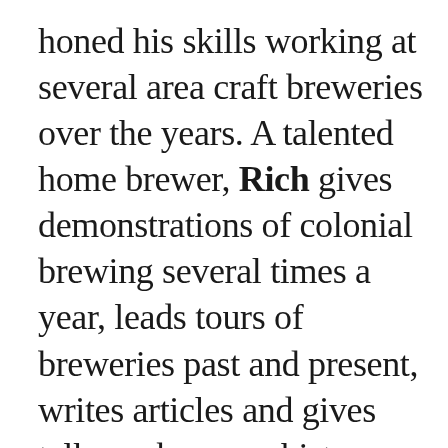honed his skills working at several area craft breweries over the years. A talented home brewer, Rich gives demonstrations of colonial brewing several times a year, leads tours of breweries past and present, writes articles and gives talks on brewery history, architecture and ephemera and is the author of Philadelphia Beer: A Heady History of